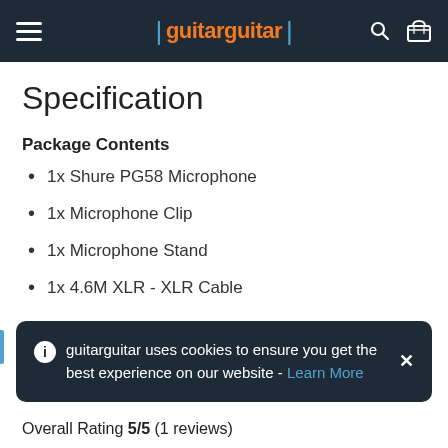guitarguitar
Specification
Package Contents
1x Shure PG58 Microphone
1x Microphone Clip
1x Microphone Stand
1x 4.6M XLR - XLR Cable
guitarguitar uses cookies to ensure you get the best experience on our website - Learn More
Overall Rating 5/5 (1 reviews)